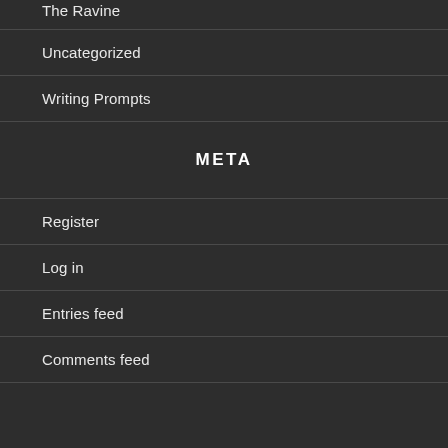The Ravine
Uncategorized
Writing Prompts
META
Register
Log in
Entries feed
Comments feed